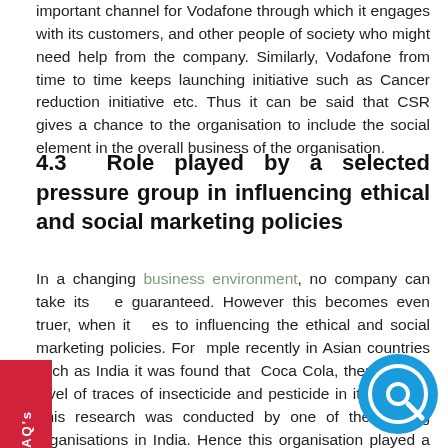important channel for Vodafone through which it engages with its customers, and other people of society who might need help from the company. Similarly, Vodafone from time to time keeps launching initiative such as Cancer reduction initiative etc. Thus it can be said that CSR gives a chance to the organisation to include the social element in the overall business of the organisation.
4.3 Role played by a selected pressure group in influencing ethical and social marketing policies
In a changing business environment, no company can take its e guaranteed. However this becomes even truer, when it es to influencing the ethical and social marketing policies. For mple recently in Asian countries such as India it was found that Coca Cola, there is high level of traces of insecticide and pesticide in its product. This research was conducted by one of the leading organisations in India. Hence this organisation played a typical role of governing agency which analysed an ly released the data which also impacted the sale of Coc or. Such kind of pressure groups basically ensure that all the public